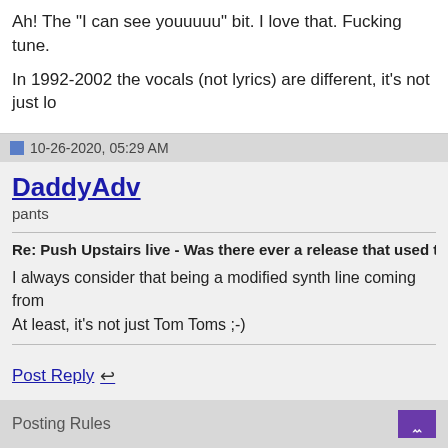Ah! The "I can see youuuuu" bit. I love that. Fucking tune.
In 1992-2002 the vocals (not lyrics) are different, it's not just lo
10-26-2020, 05:29 AM
DaddyAdv
pants
Re: Push Upstairs live - Was there ever a release that used that Tom Tom lo
I always consider that being a modified synth line coming from
At least, it's not just Tom Toms ;-)
Post Reply
« Previous Th
Posting Rules